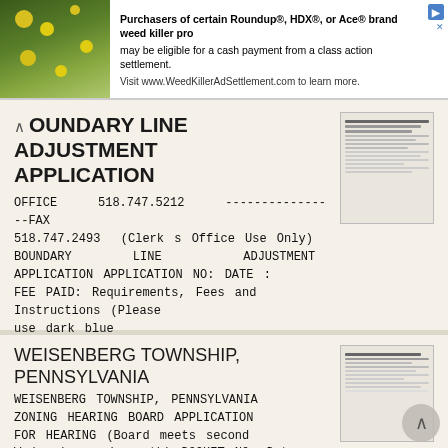[Figure (screenshot): Advertisement banner for Roundup/HDX/Ace weed killer class action settlement with photo of yellow flowers on left]
BOUNDARY LINE ADJUSTMENT APPLICATION
OFFICE 518.747.5212 ----------------FAX 518.747.2493 (Clerk s Office Use Only) BOUNDARY LINE ADJUSTMENT APPLICATION APPLICATION NO: DATE : FEE PAID: Requirements, Fees and Instructions (Please use dark blue
More information →
WEISENBERG TOWNSHIP, PENNSYLVANIA
WEISENBERG TOWNSHIP, PENNSYLVANIA ZONING HEARING BOARD APPLICATION FOR HEARING (Board meets second Wednesday each month) DOCKET NO. Date: FEE: $ 500.00 Single Family Residence $ 800.00 Other Than Single...